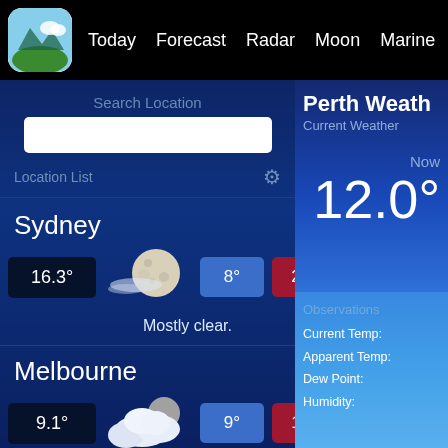Today | Forecast | Radar | Moon | Marine | Statistics
Search Location
Location List
Sydney
16.3°  8°  23°  Mostly clear.
Melbourne
9.1°  9°  16°  Rain.
Perth Weath
Current Weather
Now
12.0°
Observations
Current Temp:
Apparent Temp:
Dew Point:
Humidity: